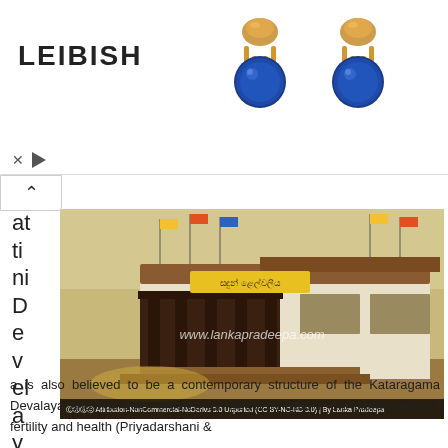[Figure (photo): LEIBISH advertisement banner with two gold and blue sapphire stud earrings]
[Figure (photo): Temple building (Pattini Devalaya) with Sinhala text sign, wooden columns, white walls, colorful flags, watermark www.lankapradeepa.com, CC BY-NC-ND 3.0 license footer]
at ti ni D e v el a y
a is also believed to be a contemporary structure of the Kataragama Devalaya and has been erected for Goddess Pattini, the patron deity of fertility and health (Priyadarshani &